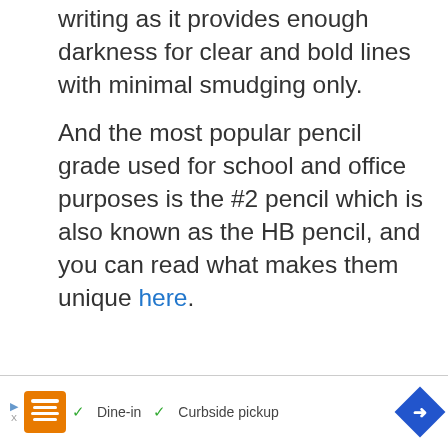writing as it provides enough darkness for clear and bold lines with minimal smudging only.
And the most popular pencil grade used for school and office purposes is the #2 pencil which is also known as the HB pencil, and you can read what makes them unique here.
[Figure (photo): Advertisement banner for Amazon forest protection: 'Just $2 can protect 1 acre of irreplaceable forest homes in the Amazon. How many acres will you protect?' with a 'PROTECT FORESTS NOW' green button and a monkey/forest background image.]
[Figure (infographic): Bottom sticky advertisement bar showing a restaurant ad with orange logo, checkmarks for 'Dine-in' and 'Curbside pickup', and a blue navigation diamond arrow. Has ad label 'Ad' and close X.]